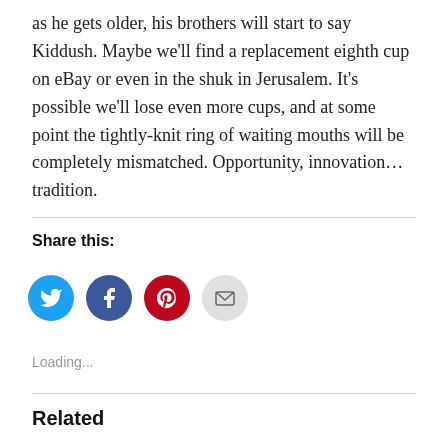as he gets older, his brothers will start to say Kiddush. Maybe we'll find a replacement eighth cup on eBay or even in the shuk in Jerusalem. It's possible we'll lose even more cups, and at some point the tightly-knit ring of waiting mouths will be completely mismatched. Opportunity, innovation… tradition.
Share this:
[Figure (infographic): Four social sharing icon buttons: Twitter (blue), Facebook (blue), Pinterest (red), Email (gray)]
Loading...
Related